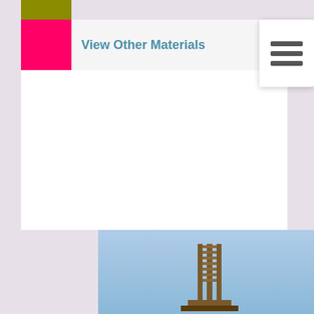[Figure (screenshot): UI row with olive color swatch at top]
View Other Materials  11
[Figure (photo): Photo of a wooden observation tower or scaffolding structure against a blue sky, with a water reflection below]